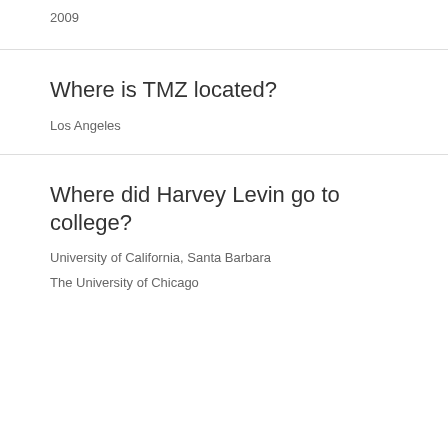2009
Where is TMZ located?
Los Angeles
Where did Harvey Levin go to college?
University of California, Santa Barbara
The University of Chicago